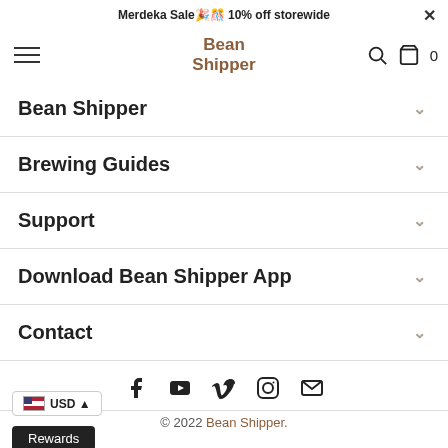Merdeka Sale 🎉🎊 10% off storewide ×
[Figure (logo): Bean Shipper logo with hamburger menu, search icon, and cart icon showing 0]
Bean Shipper ∨
Brewing Guides ∨
Support ∨
Download Bean Shipper App ∨
Contact ∨
[Figure (infographic): Social media icons row: Facebook, YouTube, Vimeo, Instagram, Email]
© 2022 Bean Shipper.
🇺🇸 USD ▲
Rewards